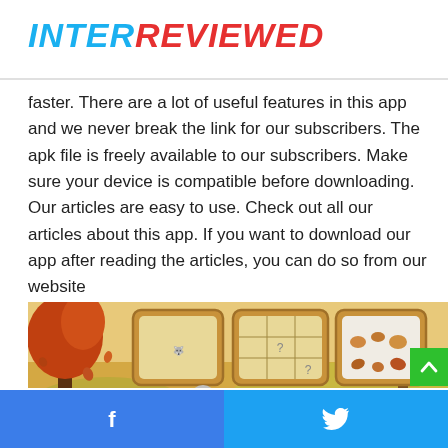INTERREVIEWED
faster. There are a lot of useful features in this app and we never break the link for our subscribers. The apk file is freely available to our subscribers. Make sure your device is compatible before downloading. Our articles are easy to use. Check out all our articles about this app. If you want to download our app after reading the articles, you can do so from our website
[Figure (screenshot): Screenshot of a children's puzzle game with an autumn-themed background showing cartoon animals (wolf and pigs) and puzzle card panels with forest animals and objects.]